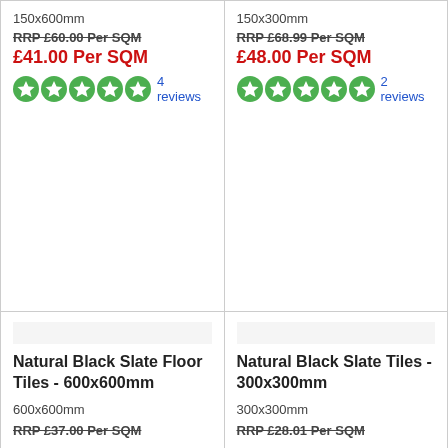150x600mm
RRP £60.00 Per SQM
£41.00 Per SQM
4 reviews
150x300mm
RRP £68.99 Per SQM
£48.00 Per SQM
2 reviews
[Figure (photo): Natural Black Slate Floor Tiles - 600x600mm product image placeholder]
Natural Black Slate Floor Tiles - 600x600mm
600x600mm
RRP £37.00 Per SQM
[Figure (photo): Natural Black Slate Tiles - 300x300mm product image placeholder]
Natural Black Slate Tiles - 300x300mm
300x300mm
RRP £28.01 Per SQM